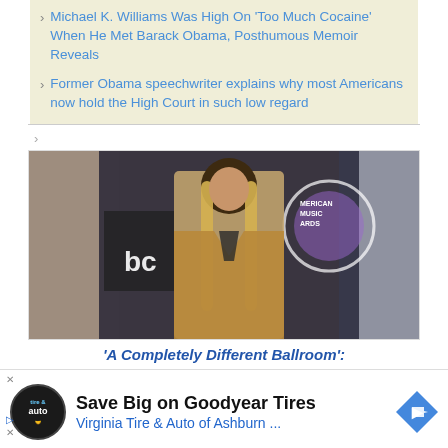Michael K. Williams Was High On 'Too Much Cocaine' When He Met Barack Obama, Posthumous Memoir Reveals
Former Obama speechwriter explains why most Americans now hold the High Court in such low regard
[Figure (photo): Woman with long blonde hair wearing a tan blazer at what appears to be the American Music Awards, in front of a backdrop with 'ABC' and 'AMERICAN MUSIC AWARDS' logos]
'A Completely Different Ballroom':
[Figure (infographic): Advertisement for Virginia Tire & Auto of Ashburn featuring tire and auto logo, text 'Save Big on Goodyear Tires' and 'Virginia Tire & Auto of Ashburn ...' with navigation arrow icon]